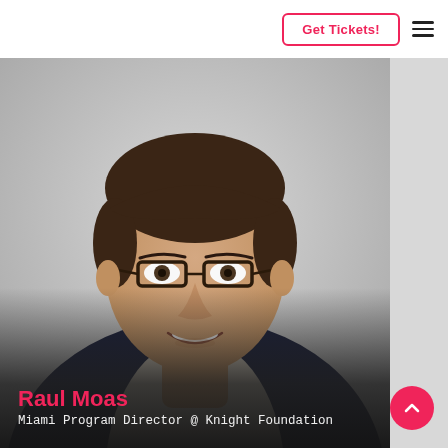Get Tickets!
[Figure (photo): Headshot portrait of Raul Moas, a young man with dark hair, glasses, and a navy blazer, smiling against a light grey background.]
Raul Moas
Miami Program Director @ Knight Foundation